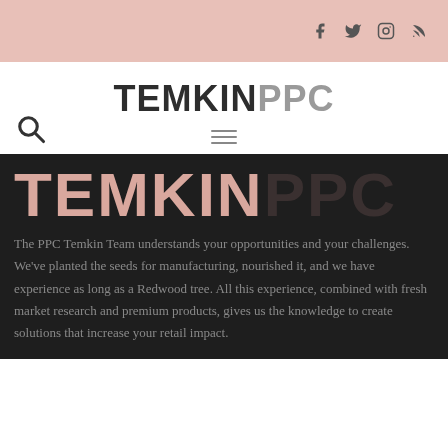Social icons: Facebook, Twitter, Instagram, RSS
[Figure (logo): TEMKIN PPC logo in dark and gray text on white background]
[Figure (logo): TEMKIN PPC large logo in pink/rose and dark charcoal text on black background]
The PPC Temkin Team understands your opportunities and your challenges. We've planted the seeds for manufacturing, nourished it, and we have experience as long as a Redwood tree. All this experience, combined with fresh market research and premium products, gives us the knowledge to create solutions that increase your retail impact.